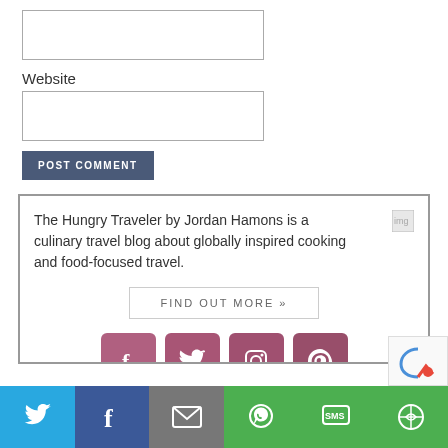[Figure (screenshot): Empty text input box (top of page, no label visible)]
Website
[Figure (screenshot): Empty text input box for Website field]
POST COMMENT
The Hungry Traveler by Jordan Hamons is a culinary travel blog about globally inspired cooking and food-focused travel.
FIND OUT MORE »
[Figure (illustration): Four social media icon buttons: Facebook, Twitter, Instagram, Pinterest — mauve/dusty rose color with white icons]
[Figure (illustration): Share bar at bottom: Twitter (blue), Facebook (dark blue), Email (grey), WhatsApp (green), SMS (green), More (green)]